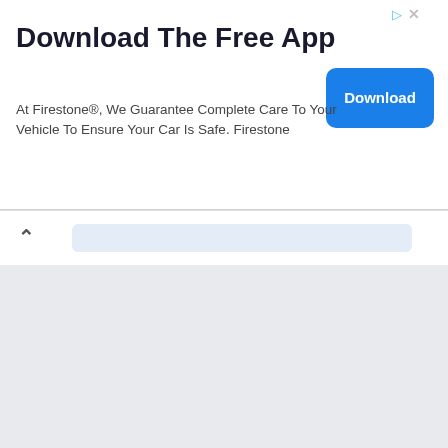Download The Free App
At Firestone®, We Guarantee Complete Care To Your Vehicle To Ensure Your Car Is Safe. Firestone
[Figure (screenshot): Blue Download button]
[Figure (screenshot): Navigation bar with up chevron and address bar]
< Go to topic listing